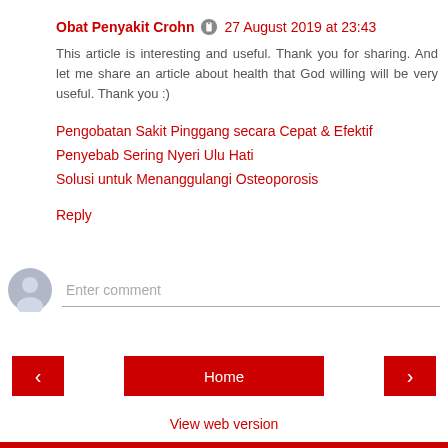Obat Penyakit Crohn  27 August 2019 at 23:43
This article is interesting and useful. Thank you for sharing. And let me share an article about health that God willing will be very useful. Thank you :)
Pengobatan Sakit Pinggang secara Cepat & Efektif
Penyebab Sering Nyeri Ulu Hati
Solusi untuk Menanggulangi Osteoporosis
Reply
Enter comment
Home
View web version